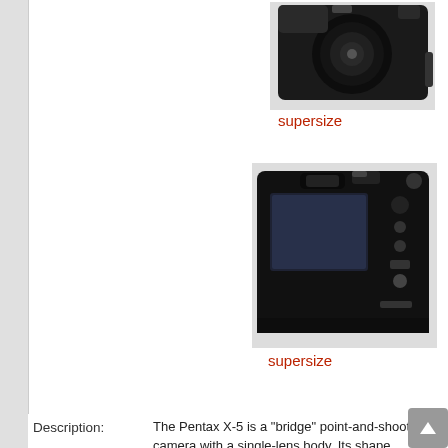[Figure (photo): Front view of Pentax X-5 camera (bridge camera with lens)]
supersize
[Figure (photo): Rear view of Pentax X-5 camera showing LCD screen and controls]
supersize
The Pentax X-5 is a "bridge" point-and-shoot digital camera with a single-lens body. Its shape resembles that of the Pentax K-5 viewfinder as well as a 3-inch LCD on the back, both of whic
The Pentax X-5 was launched in August, 2012 at a price of j
This appears to be a successor to the Pentax X-90, though t
| Property | Value |
| --- | --- |
| Camera name | X-5 |
| Sensor | 16 MP (4608 x 3456) back-lit CMOS, |
| ISO range | Auto, Manual 100 - 6400 |
| Image aspect ratio | 16:9, 4:3, and 1:1 |
|  | Auto Picture, Program, Manual, USB, |